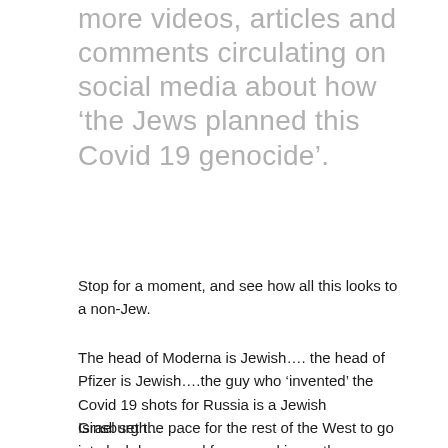more videos, articles and comments circulating on social media about how ‘the Jews planned this Covid 19 genocide’.
Stop for a moment, and see how all this looks to a non-Jew.
The head of Moderna is Jewish…. the head of Pfizer is Jewish….the guy who ‘invented’ the Covid 19 shots for Russia is a Jewish Ginsburgh…
Israel set the pace for the rest of the West to go into lockdowns and force-masking….there are Israeli and Jewish names all over the nanotech